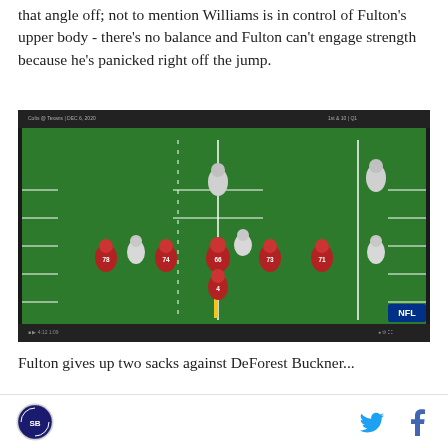that angle off; not to mention Williams is in control of Fulton's upper body - there's no balance and Fulton can't engage strength because he's panicked right off the jump.
[Figure (screenshot): NFL broadcast screenshot showing a football play from an aerial view. Red-uniformed offensive line players (numbers 78, 74, 66, 73, 71) in three-point stance with quarterback #4 behind center. White-uniformed defensive players visible on both sides. Green field with yard lines visible. NFL logo in bottom right corner.]
Fulton gives up two sacks against DeForest Buckner...
SB Nation logo | Twitter icon | Facebook icon